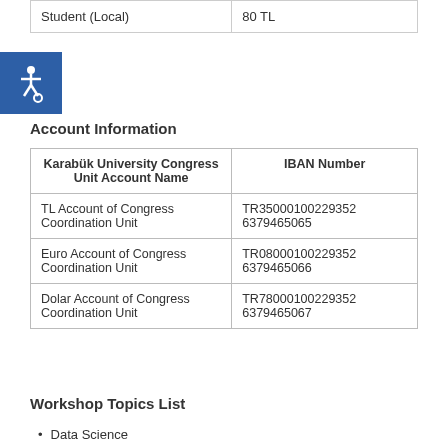|  |  |
| --- | --- |
| Student (Local) | 80 TL |
[Figure (illustration): Blue accessibility icon with wheelchair symbol]
Account Information
| Karabük University Congress Unit Account Name | IBAN Number |
| --- | --- |
| TL Account of Congress Coordination Unit | TR350001002293526379465065 |
| Euro Account of Congress Coordination Unit | TR080001002293526379465066 |
| Dolar Account of Congress Coordination Unit | TR780001002293526379465067 |
Workshop Topics List
Data Science